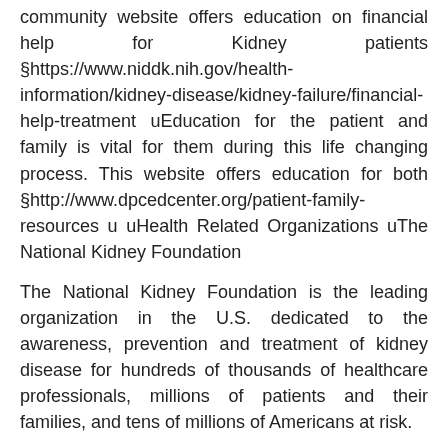community website offers education on financial help for Kidney patients §https://www.niddk.nih.gov/health-information/kidney-disease/kidney-failure/financial-help-treatment uEducation for the patient and family is vital for them during this life changing process. This website offers education for both §http://www.dpcedcenter.org/patient-family-resources u uHealth Related Organizations uThe National Kidney Foundation
The National Kidney Foundation is the leading organization in the U.S. dedicated to the awareness, prevention and treatment of kidney disease for hundreds of thousands of healthcare professionals, millions of patients and their families, and tens of millions of Americans at risk.
National Kidney Foundation, Inc., 30 East 33rd Street, New York, NY 10016, 1-800-622-9010.
§By Phone/Email §Main Number:
(800) 622-9010
info@kidney.org §NKF Cares Patient Information Help Line
(855) NKF-CARES
(1-855-653-2273)
uMore Chi...